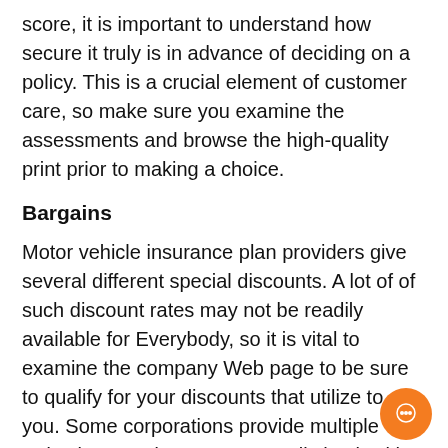score, it is important to understand how secure it truly is in advance of deciding on a policy. This is a crucial element of customer care, so make sure you examine the assessments and browse the high-quality print prior to making a choice.
Bargains
Motor vehicle insurance plan providers give several different special discounts. A lot of of such discount rates may not be readily available for Everybody, so it is vital to examine the company Web page to be sure to qualify for your discounts that utilize to you. Some corporations provide multiple reductions, and You may as well check with your insurance plan agent When they are qualified for just about any specific price reduction. Nevertheless, the procedure is straightforward and sometimes will take a lot less than one hour. Down below are a few samples of achievable automobile insurance policy special discounts.
Legacy Reductions: A car insurance provider could offer you